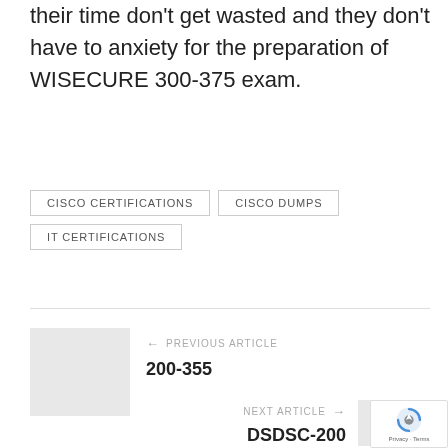their time don't get wasted and they don't have to anxiety for the preparation of WISECURE 300-375 exam.
CISCO CERTIFICATIONS
CISCO DUMPS
IT CERTIFICATIONS
← PREVIOUS ARTICLE
200-355
NEXT ARTICLE →
DSDSC-200